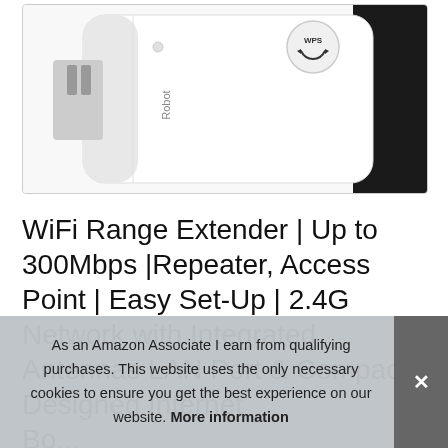[Figure (photo): A white WiFi range extender device plugged into a wall outlet, showing a WPS button on top and the brand name 'Robot' on the side. The device is compact and white with a dark background visible on the right side.]
WiFi Range Extender | Up to 300Mbps |Repeater, Access Point | Easy Set-Up | 2.4G Network with Integrated Antennas LAN Port & Compact Designed Internet Bo... Bo...
As an Amazon Associate I earn from qualifying purchases. This website uses the only necessary cookies to ensure you get the best experience on our website. More information